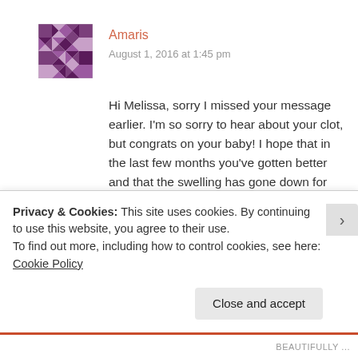[Figure (illustration): User avatar — purple quilted/geometric patterned square icon]
Amaris
August 1, 2016 at 1:45 pm
Hi Melissa, sorry I missed your message earlier. I'm so sorry to hear about your clot, but congrats on your baby! I hope that in the last few months you've gotten better and that the swelling has gone down for you. I noticed a huge difference since I started to exercise again. The swelling is what made it really painful/difficult to mobilize, but over time my body was able to make new veins (collateral
Privacy & Cookies: This site uses cookies. By continuing to use this website, you agree to their use.
To find out more, including how to control cookies, see here: Cookie Policy
Close and accept